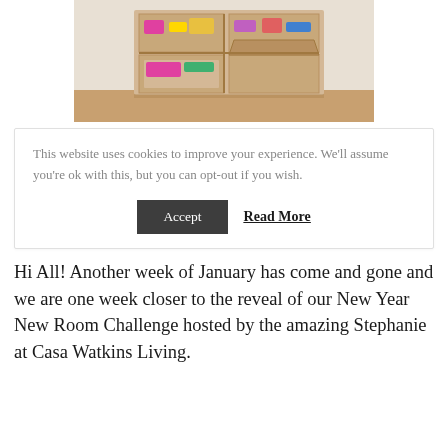[Figure (photo): Wooden toy storage bins/organizer with colorful toys inside, on a light wood floor]
This website uses cookies to improve your experience. We'll assume you're ok with this, but you can opt-out if you wish.
Accept   Read More
Hi All! Another week of January has come and gone and we are one week closer to the reveal of our New Year New Room Challenge hosted by the amazing Stephanie at Casa Watkins Living.